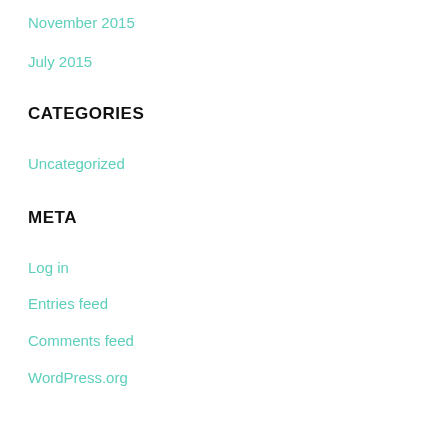November 2015
July 2015
CATEGORIES
Uncategorized
META
Log in
Entries feed
Comments feed
WordPress.org